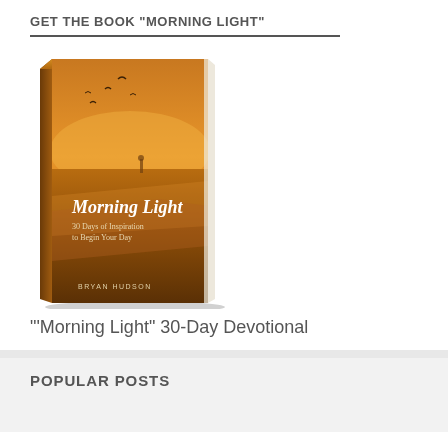GET THE BOOK "MORNING LIGHT"
[Figure (illustration): Book cover of 'Morning Light: 30 Days of Inspiration to Begin Your Day' by Bryan Hudson. Cover shows a beach at sunset with warm golden-orange tones, birds in flight, a distant figure on the shore, and reflections on wet sand. The title 'Morning Light' is in italic serif font, with subtitle '30 Days of Inspiration to Begin Your Day' and author name 'Bryan Hudson' at the bottom.]
'Morning Light" 30-Day Devotional
POPULAR POSTS